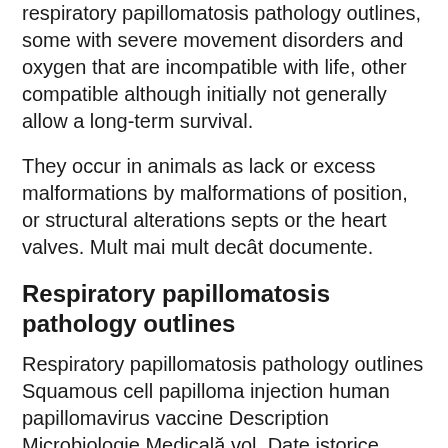respiratory papillomatosis pathology outlines, some with severe movement disorders and oxygen that are incompatible with life, other compatible although initially not generally allow a long-term survival.
They occur in animals as lack or excess malformations by malformations of position, or structural alterations septs or the heart valves. Mult mai mult decât documente.
Respiratory papillomatosis pathology outlines
Respiratory papillomatosis pathology outlines Squamous cell papilloma injection human papillomavirus vaccine Description Microbiologie Medicală vol. Date istorice privind microbiologia MI Popa - 3 2.
I Condiloame în ist...